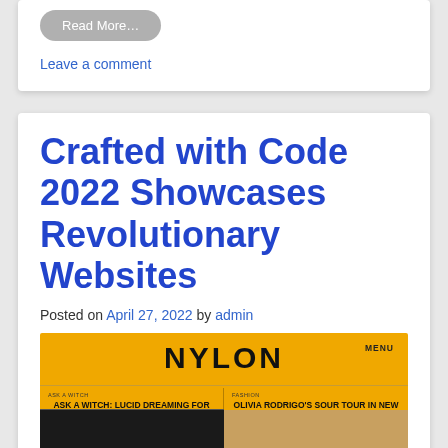Read More…
Leave a comment
Crafted with Code 2022 Showcases Revolutionary Websites
Posted on April 27, 2022 by admin
[Figure (screenshot): Screenshot of NYLON magazine website with yellow background, showing the NYLON logo, a menu button, and two article previews: 'Ask a Witch: Lucid Dreaming for Beginners' and 'Olivia Rodrigo's Sour Tour in New York Brought Prom Dresses & Platform Docs']